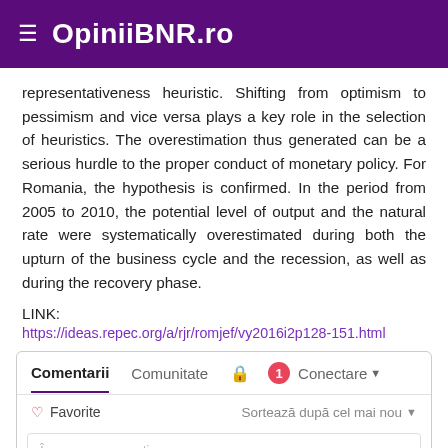OpiniiBNR.ro
representativeness heuristic. Shifting from optimism to pessimism and vice versa plays a key role in the selection of heuristics. The overestimation thus generated can be a serious hurdle to the proper conduct of monetary policy. For Romania, the hypothesis is confirmed. In the period from 2005 to 2010, the potential level of output and the natural rate were systematically overestimated during both the upturn of the business cycle and the recession, as well as during the recovery phase.
LINK:
https://ideas.repec.org/a/rjr/romjef/vy2016i2p128-151.html
Comentarii  Comunitate  🔒  1  Conectare
♡ Favorite  Sortează după cel mai nou
Începe conversația